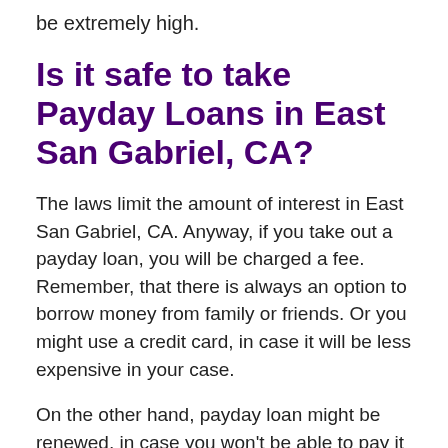be extremely high.
Is it safe to take Payday Loans in East San Gabriel, CA?
The laws limit the amount of interest in East San Gabriel, CA. Anyway, if you take out a payday loan, you will be charged a fee. Remember, that there is always an option to borrow money from family or friends. Or you might use a credit card, in case it will be less expensive in your case.
On the other hand, payday loan might be renewed, in case you won't be able to pay it back on time.
Choose the right strategy and make a smart decision. And choose the best Payday Loan from a legit lending company licensed in East San Gabriel, California to offer short-term cash advance.